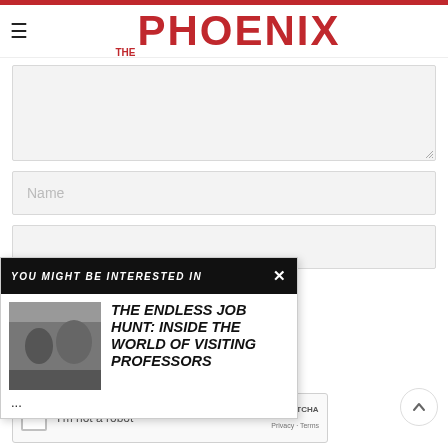THE PHOENIX
[Figure (screenshot): Web form with textarea and input fields, overlaid by a popup widget saying 'YOU MIGHT BE INTERESTED IN' with an article titled 'THE ENDLESS JOB HUNT: INSIDE THE WORLD OF VISITING PROFESSORS' and a reCAPTCHA widget.]
YOU MIGHT BE INTERESTED IN
THE ENDLESS JOB HUNT: INSIDE THE WORLD OF VISITING PROFESSORS
...
I'm not a robot
reCAPTCHA Privacy · Terms